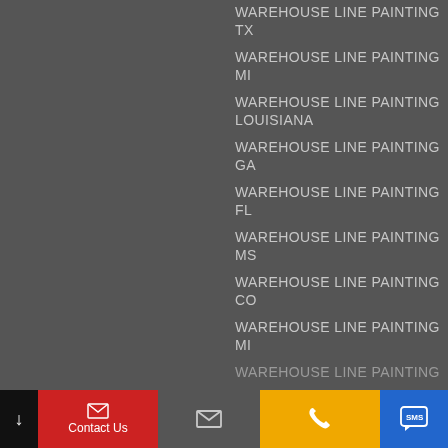WAREHOUSE LINE PAINTING TX
WAREHOUSE LINE PAINTING MI
WAREHOUSE LINE PAINTING LOUISIANA
WAREHOUSE LINE PAINTING GA
WAREHOUSE LINE PAINTING FL
WAREHOUSE LINE PAINTING MS
WAREHOUSE LINE PAINTING CO
WAREHOUSE LINE PAINTING MI
WAREHOUSE LINE PAINTING (partial)